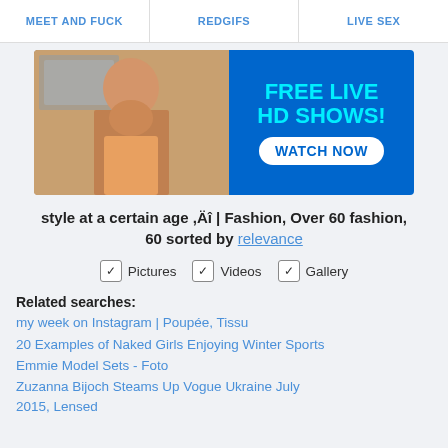MEET AND FUCK | REDGIFS | LIVE SEX
[Figure (photo): Advertisement banner with woman photo on left and 'FREE LIVE HD SHOWS! WATCH NOW' text on blue background on right]
style at a certain age ,Äî | Fashion, Over 60 fashion, 60 sorted by relevance
☑ Pictures  ☑ Videos  ☑ Gallery
Related searches:
my week on Instagram | Poupée, Tissu
20 Examples of Naked Girls Enjoying Winter Sports
Emmie Model Sets - Foto
Zuzanna Bijoch Steams Up Vogue Ukraine July 2015, Lensed